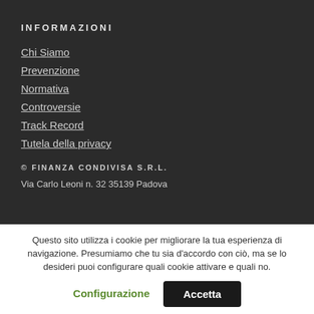INFORMAZIONI
Chi Siamo
Prevenzione
Normativa
Controversie
Track Record
Tutela della privacy
© FINANZA CONDIVISA S.R.L.
Via Carlo Leoni n. 32 35139 Padova
Questo sito utilizza i cookie per migliorare la tua esperienza di navigazione. Presumiamo che tu sia d'accordo con ciò, ma se lo desideri puoi configurare quali cookie attivare e quali no.
Configurazione
Accetta